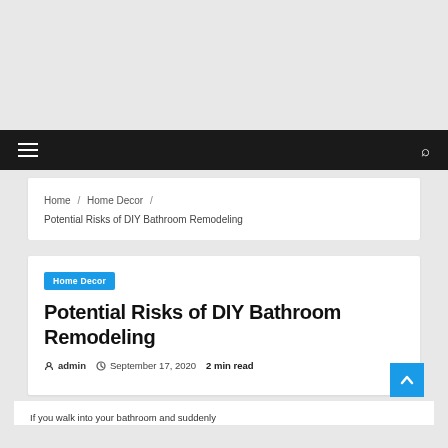Home / Home Decor / Potential Risks of DIY Bathroom Remodeling
Home Decor
Potential Risks of DIY Bathroom Remodeling
admin  September 17, 2020  2 min read
If you walk into your bathroom and suddenly